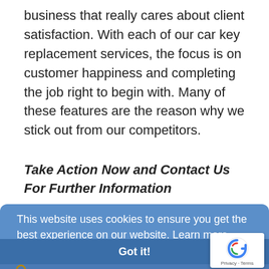business that really cares about client satisfaction. With each of our car key replacement services, the focus is on customer happiness and completing the job right to begin with. Many of these features are the reason why we stick out from our competitors.
Take Action Now and Contact Us For Further Information
This website uses cookies to ensure you get the best experience on our website. Learn more
Got it!